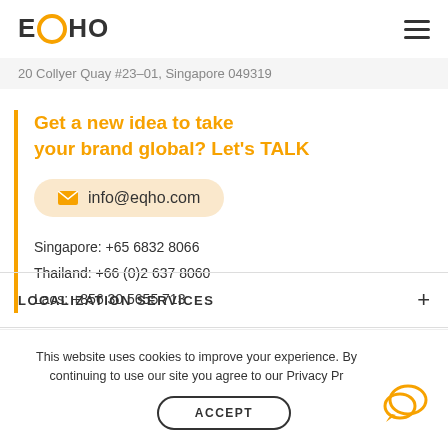EQHO
20 Collyer Quay #23–01, Singapore 049319
Get a new idea to take your brand global? Let's TALK
info@eqho.com
Singapore: +65 6832 8066
Thailand: +66 (0)2 637 8060
Laos: +856 30 5655 713
LOCALIZATION SERVICES
This website uses cookies to improve your experience. By continuing to use our site you agree to our Privacy Pr
ACCEPT